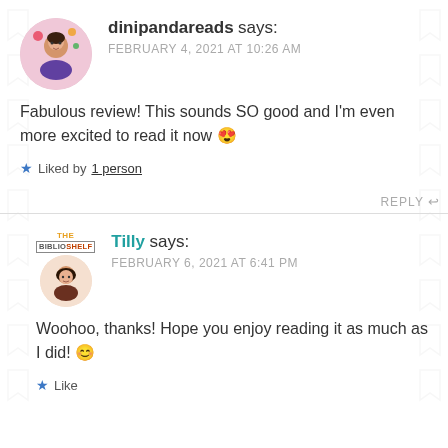dinipandareads says: FEBRUARY 4, 2021 AT 10:26 AM
Fabulous review! This sounds SO good and I'm even more excited to read it now 😍
★ Liked by 1 person
REPLY ↩
Tilly says: FEBRUARY 6, 2021 AT 6:41 PM
Woohoo, thanks! Hope you enjoy reading it as much as I did! 😊
★ Like